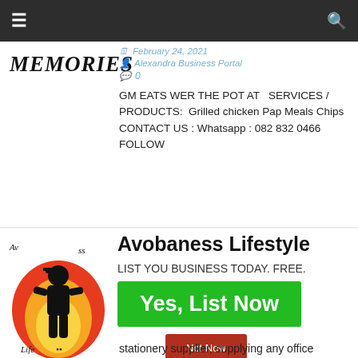☰  🔍
MEMORIES
February 24, 2021
Alexandra Business Portal
0
GM EATS WER THE POT AT  SERVICES / PRODUCTS:  Grilled chicken Pap Meals Chips CONTACT US : Whatsapp : 082 832 0466 FOLLOW
[Figure (logo): Avobaness Lifestyle logo — silhouette of person against flame background]
Avobaness Lifestyle
LIST YOU BUSINESS TODAY. FREE.
Yes, List Now
Not Now
stationery supplier, supplying any office